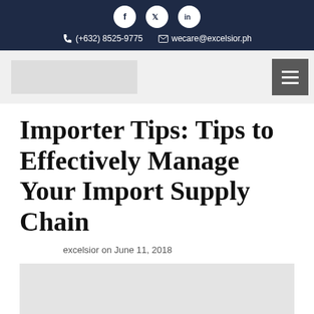Social icons: Facebook, Twitter, LinkedIn | (+632) 8525-9775 | wecare@excelsior.ph
Importer Tips: Tips to Effectively Manage Your Import Supply Chain
excelsior on June 11, 2018
[Figure (photo): Article image placeholder at bottom of page]